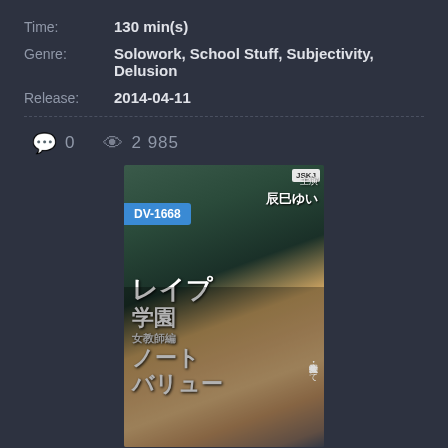Time: 130 min(s)
Genre: Solowork, School Stuff, Subjectivity, Delusion
Release: 2014-04-11
0   2 985
[Figure (photo): DVD cover image with badge DV-1668, showing Japanese text and a person in school setting]